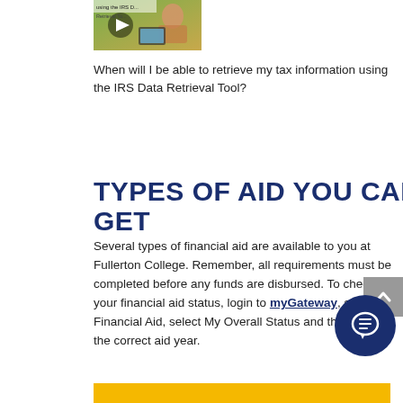[Figure (screenshot): Thumbnail image of a person using a tablet, with a video play button overlay and partial text about IRS Data Retrieval Tool]
When will I be able to retrieve my tax information using the IRS Data Retrieval Tool?
TYPES OF AID YOU CAN GET
Several types of financial aid are available to you at Fullerton College. Remember, all requirements must be completed before any funds are disbursed. To check your financial aid status, login to myGateway, select Financial Aid, select My Overall Status and then select the correct aid year.